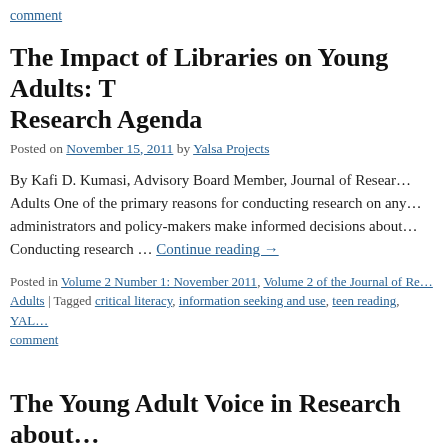comment
The Impact of Libraries on Young Adults: T… Research Agenda
Posted on November 15, 2011 by Yalsa Projects
By Kafi D. Kumasi, Advisory Board Member, Journal of Resear… Adults One of the primary reasons for conducting research on any… administrators and policy-makers make informed decisions about… Conducting research … Continue reading →
Posted in Volume 2 Number 1: November 2011, Volume 2 of the Journal of Re… Adults | Tagged critical literacy, information seeking and use, teen reading, YAL… comment
The Young Adult Voice in Research about…
Posted on November 15, 2011 by Yalsa Projects
By Robin Moeller, Amy Pattee, and Angela Leeper,' Advisory Be…